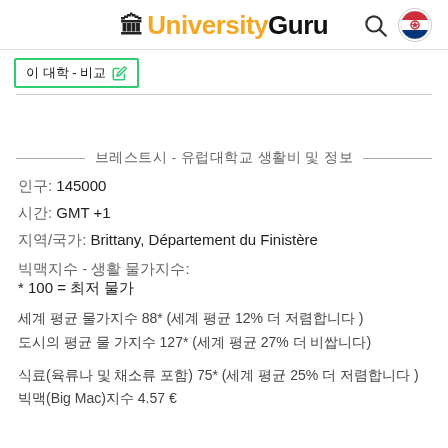UniversityGuru
이 대학 - 비교 [edit icon]
브레스트시 - 유럽대학교 생활비 및 정보
인구: 145000
시간: GMT +1
지역/국가: Brittany, Département du Finistère
빅맥지수 - 생활 물가지수:
* 100 = 최저 물가
세계 평균 물가지수 88* (세계 평균 12% 더 저렴합니다 )
도시의 평균 물 가지수 127* (세계 평균 27% 더 비쌉니다)
식료(육류나 및 채소류 포함) 75* (세계 평균 25% 더 저렴합니다 )
빅맥(Big Mac)지수 4.57 €